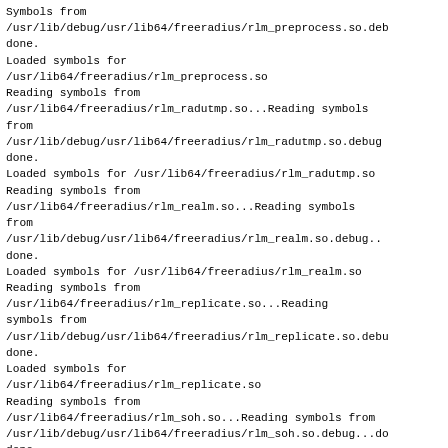Symbols from
/usr/lib/debug/usr/lib64/freeradius/rlm_preprocess.so.deb
done.
Loaded symbols for
/usr/lib64/freeradius/rlm_preprocess.so
Reading symbols from
/usr/lib64/freeradius/rlm_radutmp.so...Reading symbols
from
/usr/lib/debug/usr/lib64/freeradius/rlm_radutmp.so.debug
done.
Loaded symbols for /usr/lib64/freeradius/rlm_radutmp.so
Reading symbols from
/usr/lib64/freeradius/rlm_realm.so...Reading symbols
from
/usr/lib/debug/usr/lib64/freeradius/rlm_realm.so.debug..
done.
Loaded symbols for /usr/lib64/freeradius/rlm_realm.so
Reading symbols from
/usr/lib64/freeradius/rlm_replicate.so...Reading
symbols from
/usr/lib/debug/usr/lib64/freeradius/rlm_replicate.so.debu
done.
Loaded symbols for
/usr/lib64/freeradius/rlm_replicate.so
Reading symbols from
/usr/lib64/freeradius/rlm_soh.so...Reading symbols from
/usr/lib/debug/usr/lib64/freeradius/rlm_soh.so.debug...do
done.
Loaded symbols for /usr/lib64/freeradius/rlm_soh.so
Reading symbols from
/usr/lib64/freeradius/rlm_unix.so... Reading symbols